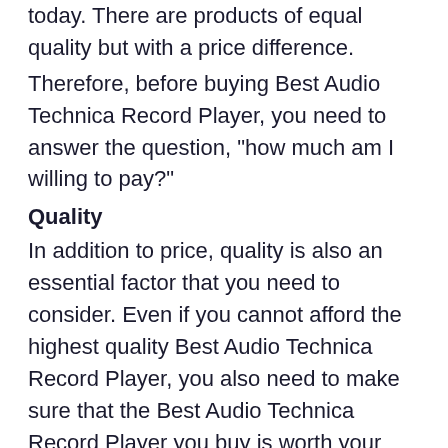today. There are products of equal quality but with a price difference.
Therefore, before buying Best Audio Technica Record Player, you need to answer the question, "how much am I willing to pay?"
Quality
In addition to price, quality is also an essential factor that you need to consider. Even if you cannot afford the highest quality Best Audio Technica Record Player, you also need to make sure that the Best Audio Technica Record Player you buy is worth your money.
It's smart to do a small research to understand what makes an excellent Best Audio Technica Record Player
In addition, you should also learn about the brands that are supplying the Best Audio Technica Record Player and the method they use to produce the Best Audio Technica Record Player. If you are